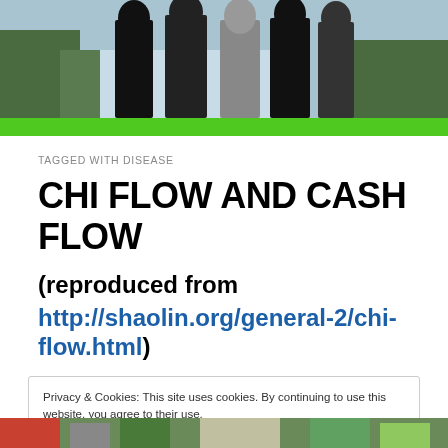[Figure (photo): Group of people standing outdoors, cropped to show lower bodies, with trees/water in background]
TAGGED WITH DISEASE
CHI FLOW AND CASH FLOW
(reproduced from http://shaolin.org/general-2/chi-flow.html)
Privacy & Cookies: This site uses cookies. By continuing to use this website, you agree to their use.
To find out more, including how to control cookies, see here: Cookie Policy
[Figure (photo): Bottom strip of outdoor photo showing people, partially visible]